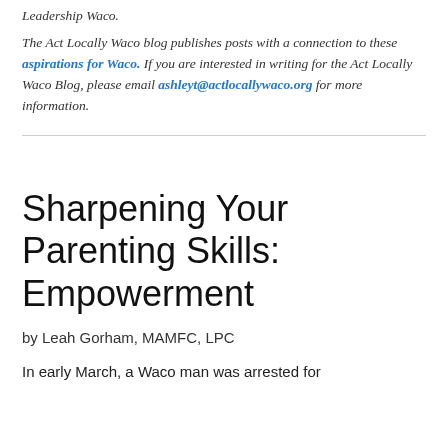Leadership Waco. The Act Locally Waco blog publishes posts with a connection to these aspirations for Waco. If you are interested in writing for the Act Locally Waco Blog, please email ashleyt@actlocallywaco.org for more information.
Sharpening Your Parenting Skills: Empowerment
by Leah Gorham, MAMFC, LPC
In early March, a Waco man was arrested for